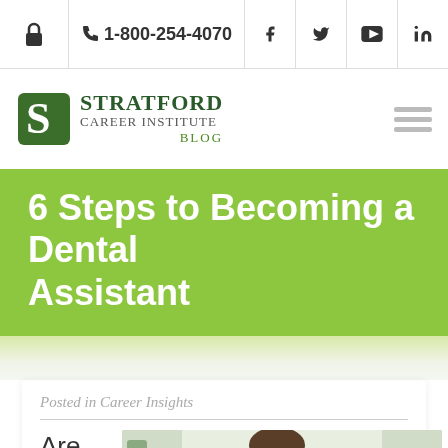🔒  📞 1-800-254-4070   f  🐦  ▶  in
[Figure (logo): Stratford Career Institute Blog logo with stylized S emblem in green]
6 Steps to Becoming a Dental Assistant
Posted in Career Insights
[Figure (photo): Photo of a smiling female dental assistant and a patient in a dental chair]
Are you lookin